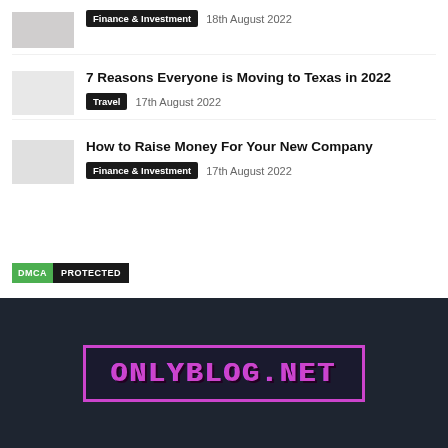[Figure (photo): Thumbnail image placeholder, light gray/white]
7 Reasons Everyone is Moving to Texas in 2022
Travel  17th August 2022
How to Raise Money For Your New Company
Finance & Investment  17th August 2022
[Figure (logo): DMCA PROTECTED badge]
[Figure (logo): ONLYBLOG.NET logo with purple pixel-style text on dark background with purple border]